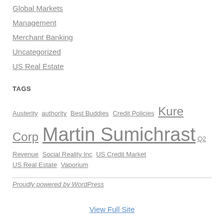Global Markets
Management
Merchant Banking
Uncategorized
US Real Estate
TAGS
Austerity  authority  Best Buddies  Credit Policies  Kure Corp  Martin Sumichrast  Q2  Revenue  Social Reality Inc  US Credit Market  US Real Estate  Vaporium
Proudly powered by WordPress
View Full Site